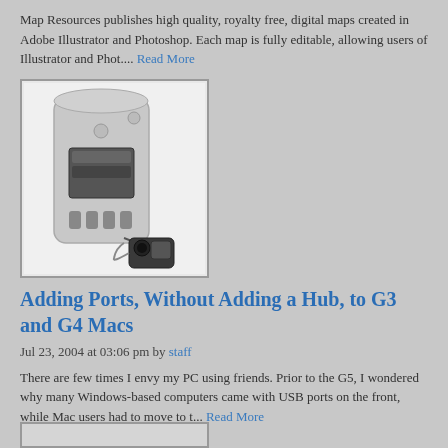Map Resources publishes high quality, royalty free, digital maps created in Adobe Illustrator and Photoshop. Each map is fully editable, allowing users of Illustrator and Phot.... Read More
[Figure (photo): Photo of a Power Mac G4 tower computer (silver/aluminum enclosure) with a small camcorder or peripheral device attached via cable, photographed from the front-left angle.]
Adding Ports, Without Adding a Hub, to G3 and G4 Macs
Jul 23, 2004 at 03:06 pm by staff
There are few times I envy my PC using friends. Prior to the G5, I wondered why many Windows-based computers came with USB ports on the front, while Mac users had to move to t... Read More